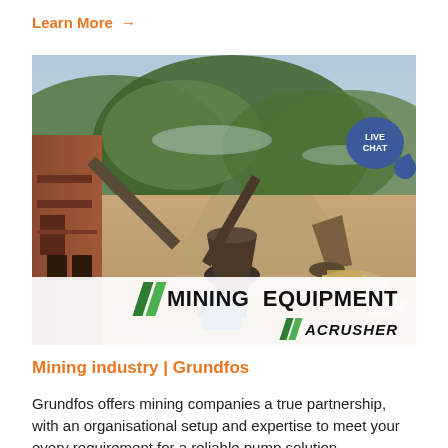Learn More →
[Figure (photo): Mining equipment site with conveyors, crushers, and machinery in an outdoor quarry setting with mountains in the background. A 'LIVE CHAT' bubble overlay appears in the top-right. The bottom shows a white overlay with 'MINING EQUIPMENT ACRUSHER' logo with green slashes.]
Mining industry | Grundfos
Grundfos offers mining companies a true partnership, with an organisational setup and expertise to meet your every requirement for a reliable pump solution.